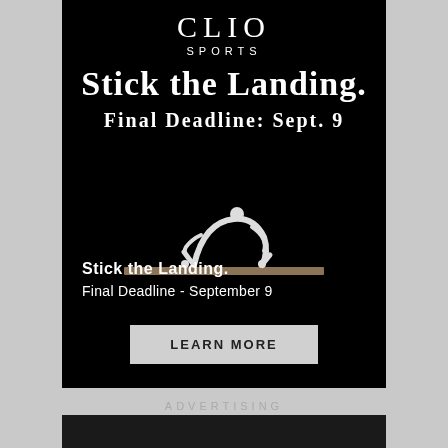CLIO SPORTS
Stick the Landing.
Final Deadline: Sept. 9
[Figure (photo): A gymnast in a backbend position on a balance beam against a black background]
Stick the Landing.
Final Deadline - September 9
LEARN MORE
ADVERTISING